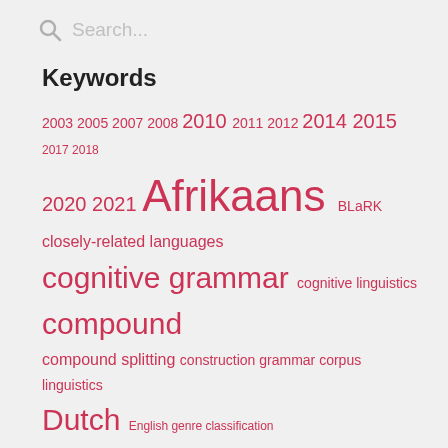Search...
Keywords
2003 2005 2007 2008 2010 2011 2012 2014 2015 2017 2018 2020 2021 Afrikaans BLaRK closely-related languages cognitive grammar cognitive linguistics compound compound splitting construction grammar corpus linguistics Dutch English genre classification human language technology human language technology audit language audit language resource infrastructure language resource management language resources machine learning machine translation morphological analysis morphology orthography POS tagging recycling resource-scarce languages semantic analysis South Africa spelling checker swearing technology audit terminology